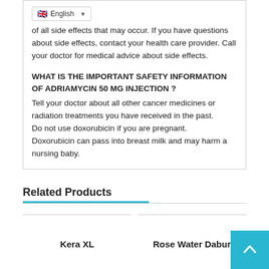of all side effects that may occur. If you have questions about side effects, contact your health care provider. Call your doctor for medical advice about side effects.
WHAT IS THE IMPORTANT SAFETY INFORMATION OF ADRIAMYCIN 50 MG INJECTION ?
Tell your doctor about all other cancer medicines or radiation treatments you have received in the past.
Do not use doxorubicin if you are pregnant.
Doxorubicin can pass into breast milk and may harm a nursing baby.
Related Products
Kera XL
Rose Water Dabur